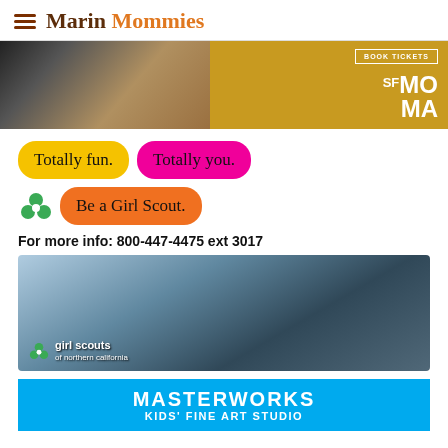Marin Mommies
[Figure (photo): SFMOMA advertisement banner with children and adults, gold background, BOOK TICKETS button, SFMOMA logo]
[Figure (infographic): Girl Scouts advertisement: yellow bubble 'Totally fun.', pink bubble 'Totally you.', green trefoil icon, orange bubble 'Be a Girl Scout.']
For more info: 800-447-4475 ext 3017
[Figure (photo): Girl Scouts of Northern California photo: group of smiling girls outdoors, with logo overlay]
[Figure (infographic): MASTERWORKS KIDS' FINE ART STUDIO advertisement on blue background]